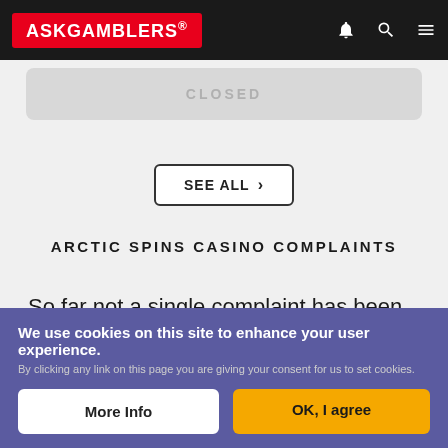ASKGAMBLERS®
CLOSED
SEE ALL ›
ARCTIC SPINS CASINO COMPLAINTS
So far not a single complaint has been filed against this online casino.
We use cookies on this site to enhance your user experience.
By clicking any link on this page you are giving your consent for us to set cookies.
More Info   OK, I agree